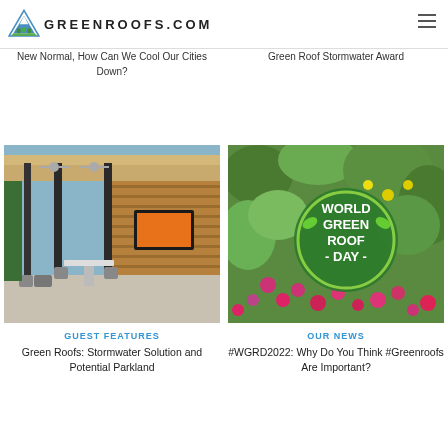GREENROOFS.COM
New Normal, How Can We Cool Our Cities Down?
Green Roof Stormwater Award
[Figure (photo): Modern building exterior with wood cladding, patio furniture, ceiling fans, and large outdoor TV screen]
GUEST FEATURES
Green Roofs: Stormwater Solution and Potential Parkland
[Figure (photo): Colorful wildflower green roof with circular World Green Roof Day logo overlay]
OUR NEWS
#WGRD2022: Why Do You Think #Greenroofs Are Important?